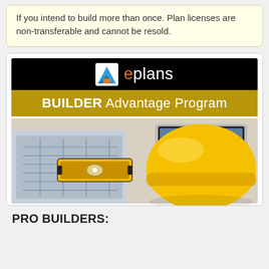If you intend to build more than once. Plan licenses are non-transferable and cannot be resold.
[Figure (logo): ePlans Builder Advantage Program banner with eplans logo on black background, gold bar with BUILDER Advantage Program text, and construction photo showing yellow hard hat, blueprints, spirit level, and laptop]
PRO BUILDERS: